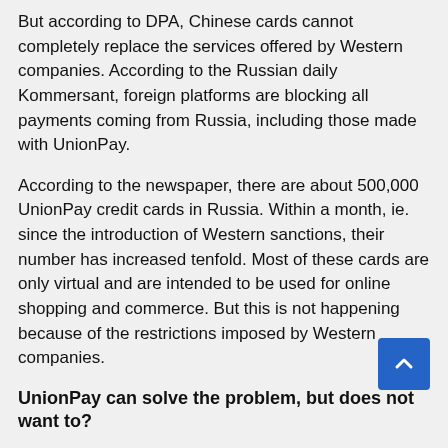But according to DPA, Chinese cards cannot completely replace the services offered by Western companies. According to the Russian daily Kommersant, foreign platforms are blocking all payments coming from Russia, including those made with UnionPay.
According to the newspaper, there are about 500,000 UnionPay credit cards in Russia. Within a month, ie. since the introduction of Western sanctions, their number has increased tenfold. Most of these cards are only virtual and are intended to be used for online shopping and commerce. But this is not happening because of the restrictions imposed by Western companies.
UnionPay can solve the problem, but does not want to?
In theory, UnionPay could solve the problem, the publication said. But the Chinese company has so far made no effort to do so, the publication said. Following the Russian invasion of Ukraine, the West imposed sanctions on the financial sector, among other restrictions. Many financial institutions have been excluded from the Swift banking communications network. The world's largest credit card operators Visa and Mastercard have stopped their business in Russia.